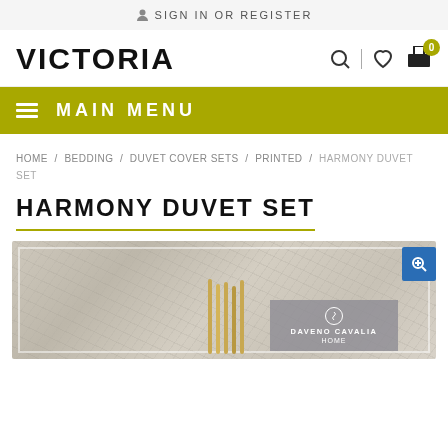SIGN IN OR REGISTER
[Figure (logo): VICTORIA brand logo with search, wishlist, and cart icons]
MAIN MENU
HOME / BEDDING / DUVET COVER SETS / PRINTED / HARMONY DUVET SET
HARMONY DUVET SET
[Figure (photo): Product photo of Harmony Duvet Set showing marble-patterned bedding with Daveno Cavalia Home brand overlay and zoom button]